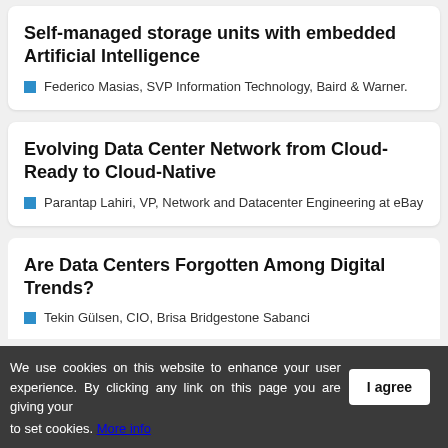Self-managed storage units with embedded Artificial Intelligence
Federico Masias, SVP Information Technology, Baird & Warner.
Evolving Data Center Network from Cloud-Ready to Cloud-Native
Parantap Lahiri, VP, Network and Datacenter Engineering at eBay
Are Data Centers Forgotten Among Digital Trends?
Tekin Gülsen, CIO, Brisa Bridgestone Sabanci
We use cookies on this website to enhance your user experience. By clicking any link on this page you are giving your consent to set cookies. More info